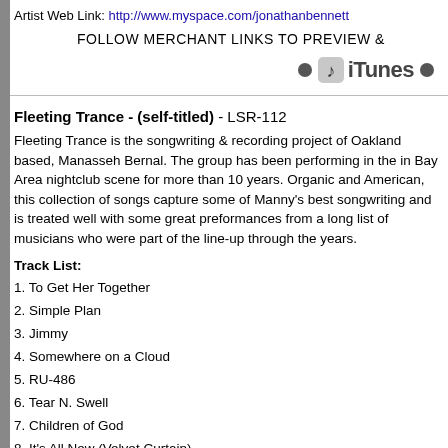Artist Web Link: http://www.myspace.com/jonathanbennett
FOLLOW MERCHANT LINKS TO PREVIEW &
[Figure (logo): iTunes logo with two bullet points on either side]
Fleeting Trance - (self-titled) - LSR-112
Fleeting Trance is the songwriting & recording project of Oakland based, Manasseh Bernal. The group has been performing in the in Bay Area nightclub scene for more than 10 years. Organic and American, this collection of songs capture some of Manny's best songwriting and is treated well with some great preformances from a long list of musicians who were part of the line-up through the years.
Track List:
1. To Get Her Together
2. Simple Plan
3. Jimmy
4. Somewhere on a Cloud
5. RU-486
6. Tear N. Swell
7. Children of God
8. It's All New (Velvet Curtain)
9. Blue
10. Ohhh